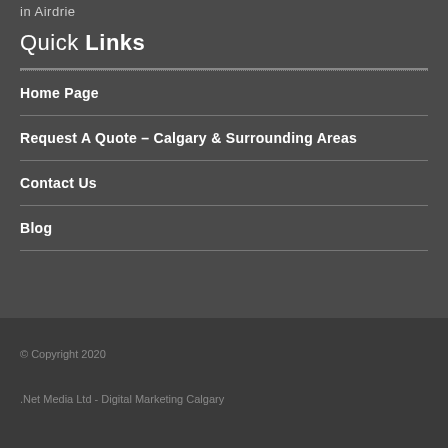in Airdrie
Quick Links
Home Page
Request A Quote – Calgary & Surrounding Areas
Contact Us
Blog
© Copyright 2020
.Net Media Ltd - Digital Marketing Calgary